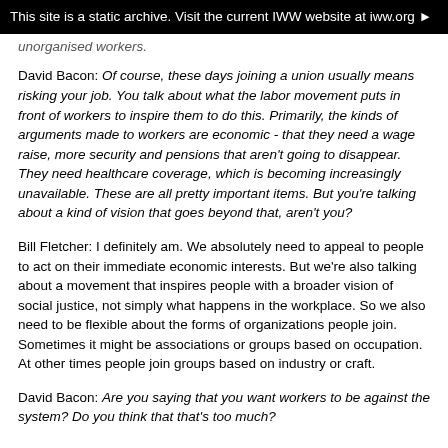This site is a static archive. Visit the current IWW website at iww.org ▶
unorganised workers.
David Bacon: Of course, these days joining a union usually means risking your job. You talk about what the labor movement puts in front of workers to inspire them to do this. Primarily, the kinds of arguments made to workers are economic - that they need a wage raise, more security and pensions that aren't going to disappear. They need healthcare coverage, which is becoming increasingly unavailable. These are all pretty important items. But you're talking about a kind of vision that goes beyond that, aren't you?
Bill Fletcher: I definitely am. We absolutely need to appeal to people to act on their immediate economic interests. But we're also talking about a movement that inspires people with a broader vision of social justice, not simply what happens in the workplace. So we also need to be flexible about the forms of organizations people join. Sometimes it might be associations or groups based on occupation. At other times people join groups based on industry or craft.
David Bacon: Are you saying that you want workers to be against the system? Do you think that that's too much?